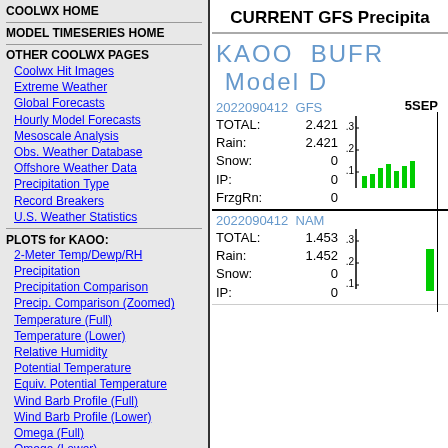COOLWX HOME
MODEL TIMESERIES HOME
OTHER COOLWX PAGES
Coolwx Hit Images
Extreme Weather
Global Forecasts
Hourly Model Forecasts
Mesoscale Analysis
Obs. Weather Database
Offshore Weather Data
Precipitation Type
Record Breakers
U.S. Weather Statistics
PLOTS for KAOO:
2-Meter Temp/Dewp/RH
Precipitation
Precipitation Comparison
Precip. Comparison (Zoomed)
Temperature (Full)
Temperature (Lower)
Relative Humidity
Potential Temperature
Equiv. Potential Temperature
Wind Barb Profile (Full)
Wind Barb Profile (Lower)
Omega (Full)
Omega (Lower)
Richardson Number
Model Sounding SkewTs
JUMP TO A STATE/REGION:
USA:
AK AL AR AZ CA CO CT DE FL GA HI IA ID IN IL KS KY LA MA MD ME MI MN MO
CURRENT GFS Precipita
KAOO BUFR Model D
| Field | Value |
| --- | --- |
| 2022090412 GFS |  |
| TOTAL: | 2.421 |
| Rain: | 2.421 |
| Snow: | 0 |
| IP: | 0 |
| FrzgRn: | 0 |
| Field | Value |
| --- | --- |
| 2022090412 NAM |  |
| TOTAL: | 1.453 |
| Rain: | 1.452 |
| Snow: | 0 |
| IP: | 0 |
[Figure (bar-chart): GFS precipitation bar chart showing green bars near 5SEP label, y-axis from 0.1 to 0.3]